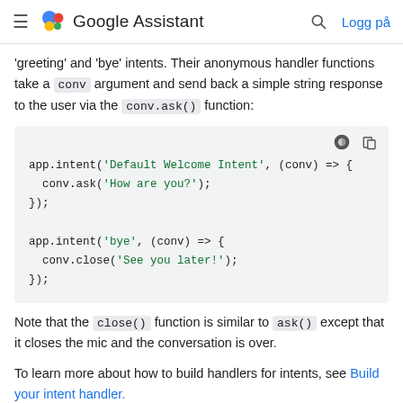Google Assistant  Logg på
'greeting' and 'bye' intents. Their anonymous handler functions take a conv argument and send back a simple string response to the user via the conv.ask() function:
[Figure (screenshot): Code block showing two app.intent() calls: one for 'Default Welcome Intent' with conv.ask('How are you?') and one for 'bye' with conv.close('See you later!')]
Note that the close() function is similar to ask() except that it closes the mic and the conversation is over.
To learn more about how to build handlers for intents, see Build your intent handler.